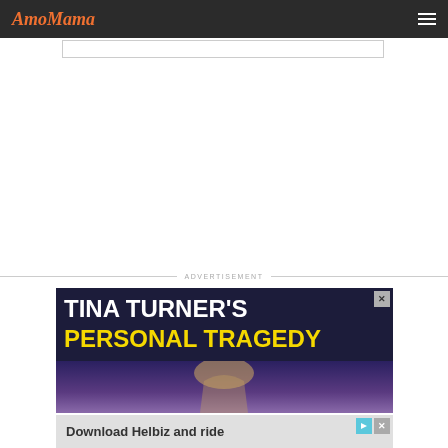[Figure (screenshot): AmoMama website navigation bar with orange italic logo and hamburger menu on dark background]
[Figure (screenshot): White search bar area below navigation]
ADVERTISEMENT
[Figure (infographic): Advertisement banner for Tina Turner's Personal Tragedy article with white and yellow bold text on dark background with concert photo]
[Figure (infographic): Bottom advertisement banner for Download Helbiz and ride]